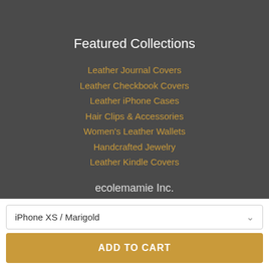Featured Collections
Leather Journal Covers
Leather Checkbook Covers
Leather iPhone Cases
Hair Clips & Accessories
Women's Leather Wallets
Handcrafted Jewelry
Leather Kindle Covers
ecolemamie Inc.
3500 N. Laughlin Rd. Ste. 100
Dartmouth, NS B2Y 1K8 , Canada
iPhone XS / Marigold
ADD TO CART